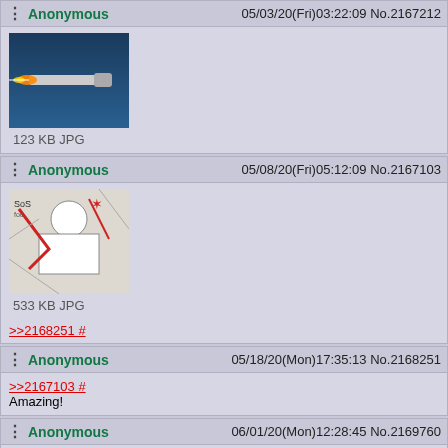Anonymous  05/03/20(Fri)03:22:09 No.2167212
[Figure (photo): Thumbnail image of a rocket or missile launch with blue sky background]
123 KB JPG
Anonymous  05/08/20(Fri)05:12:09 No.2167103
[Figure (photo): Thumbnail image of manga/comic art with action scene, red and white figures]
533 KB JPG
>>2168251 #
Anonymous  05/18/20(Mon)17:35:13 No.2168251
>>2167103 #
Amazing!
Anonymous  06/01/20(Mon)12:28:45 No.2169760
>>2126996 #
>>2118198 #